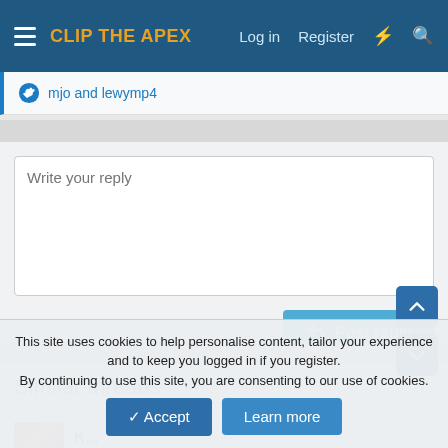CLIP THE APEX | Log in | Register
mjo and lewymp4
Write your reply
Post reply
Similar threads
This site uses cookies to help personalise content, tailor your experience and to keep you logged in if you register. By continuing to use this site, you are consenting to our use of cookies.
Accept
Learn more